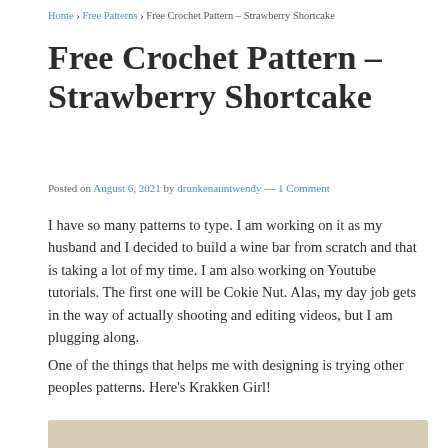Home › Free Patterns › Free Crochet Pattern – Strawberry Shortcake
Free Crochet Pattern – Strawberry Shortcake
Posted on August 6, 2021 by drunkenauntwendy — 1 Comment
I have so many patterns to type. I am working on it as my husband and I decided to build a wine bar from scratch and that is taking a lot of my time. I am also working on Youtube tutorials. The first one will be Cokie Nut. Alas, my day job gets in the way of actually shooting and editing videos, but I am plugging along.
One of the things that helps me with designing is trying other peoples patterns. Here's Krakken Girl!
[Figure (photo): Partial view of a crochet doll photo, tan/beige background visible at bottom of page]